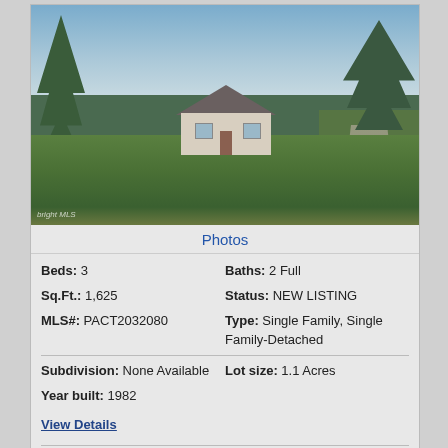[Figure (photo): Exterior photo of a single-family home with a large green lawn in the foreground, trees on both sides, clear blue sky, and a driveway to the right. Small watermark reading 'bright MLS' in lower left corner.]
Photos
Beds: 3
Sq.Ft.: 1,625
MLS#: PACT2032080
Subdivision: None Available
Year built: 1982
Baths: 2 Full
Status: NEW LISTING
Type: Single Family, Single Family-Detached
Lot size: 1.1 Acres
View Details
Contact: Tom O'Neill and Lynn Hinckley